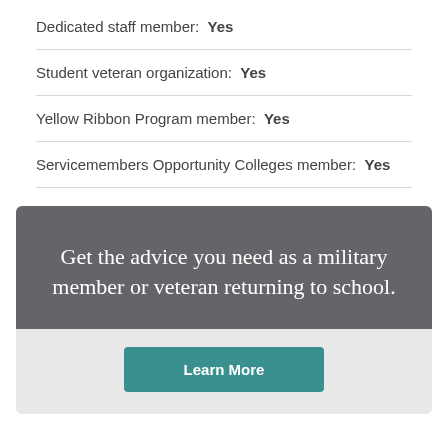Dedicated staff member:  Yes
Student veteran organization:  Yes
Yellow Ribbon Program member:  Yes
Servicemembers Opportunity Colleges member:  Yes
Get the advice you need as a military member or veteran returning to school.
Learn More